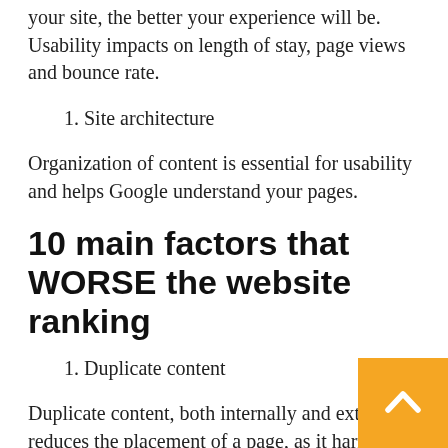your site, the better your experience will be. Usability impacts on length of stay, page views and bounce rate.
1. Site architecture
Organization of content is essential for usability and helps Google understand your pages.
10 main factors that WORSE the website ranking
1. Duplicate content
Duplicate content, both internally and externally, reduces the placement of a page, as it harms the user experience.
[Figure (other): Back to top button — orange square with white upward chevron arrow]